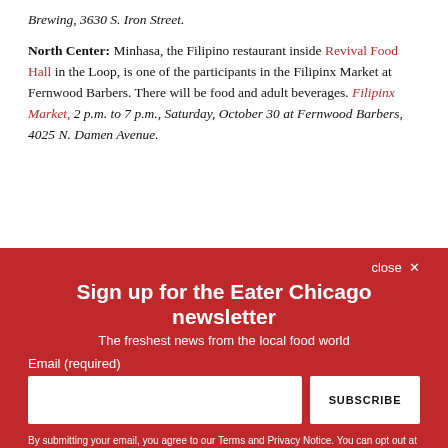Brewing, 3630 S. Iron Street.
North Center: Minhasa, the Filipino restaurant inside Revival Food Hall in the Loop, is one of the participants in the Filipinx Market at Fernwood Barbers. There will be food and adult beverages. Filipinx Market, 2 p.m. to 7 p.m., Saturday, October 30 at Fernwood Barbers, 4025 N. Damen Avenue.
close ✕
Sign up for the Eater Chicago newsletter
The freshest news from the local food world
Email (required)
SUBSCRIBE
By submitting your email, you agree to our Terms and Privacy Notice. You can opt out at any time. This site is protected by reCAPTCHA and the Google Privacy Policy and Terms of Service apply.